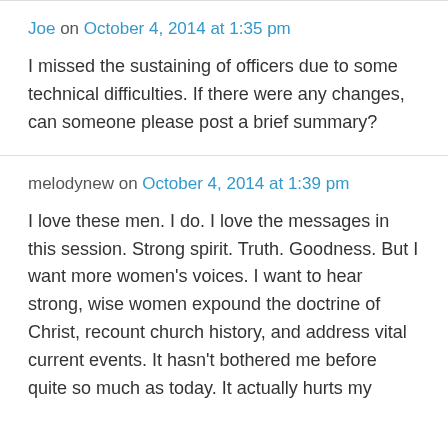Joe on October 4, 2014 at 1:35 pm
I missed the sustaining of officers due to some technical difficulties. If there were any changes, can someone please post a brief summary?
melodynew on October 4, 2014 at 1:39 pm
I love these men. I do. I love the messages in this session. Strong spirit. Truth. Goodness. But I want more women's voices. I want to hear strong, wise women expound the doctrine of Christ, recount church history, and address vital current events. It hasn't bothered me before quite so much as today. It actually hurts my